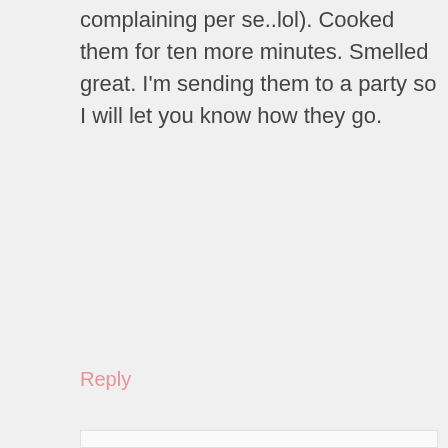complaining per se..lol). Cooked them for ten more minutes. Smelled great. I'm sending them to a party so I will let you know how they go.
Reply
thedomesticrebel says
June 15, 2013 at 1:09 pm
Hey Heather! The mixture is quite stiff. It should absorb all the cake mix crumbs but it